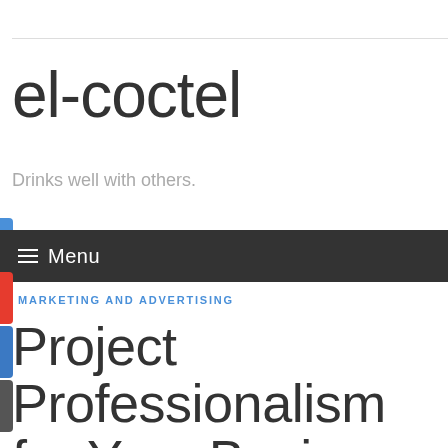el-coctel
Drinks well with others.
≡ Menu
MARKETING AND ADVERTISING
Project Professionalism for Your Business With